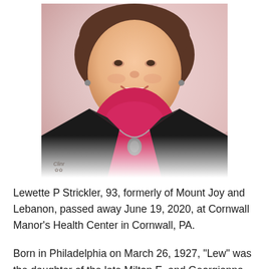[Figure (photo): Portrait photo of Lewette P Strickler, a smiling woman wearing a black jacket over a pink/magenta turtleneck sweater with a necklace pendant, set against a soft pink background. A photographer's watermark is visible in the lower left corner.]
Lewette P Strickler, 93, formerly of Mount Joy and Lebanon, passed away June 19, 2020, at Cornwall Manor's Health Center in Cornwall, PA.
Born in Philadelphia on March 26, 1927, "Lew" was the daughter of the late Milton E. and Georgianna